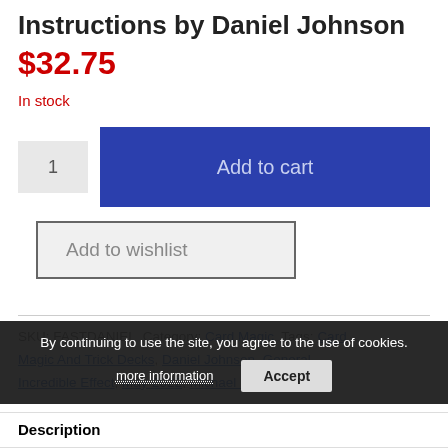Instructions by Daniel Johnson
$32.75
In stock
[Figure (screenshot): Quantity input box showing '1' and Add to cart button (dark blue)]
[Figure (screenshot): Add to wishlist button (light gray with border)]
SKU: FASTDANIEL Category: Card Magic Tags: Card Magic And Trick Decks, Daniel Johnson, General, Incredible Effect, May-2022, Michael Murray, Video
By continuing to use the site, you agree to the use of cookies.
more information
Accept
Description